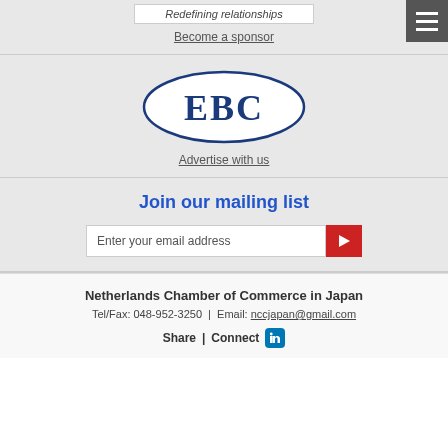Become a sponsor
[Figure (logo): EBC (European Business Council) logo — dark blue oval with EBC text in serif font]
Advertise with us
Join our mailing list
Enter your email address
Netherlands Chamber of Commerce in Japan
Tel/Fax: 048-952-3250  |  Email: nccjapan@gmail.com
Share  |  Connect